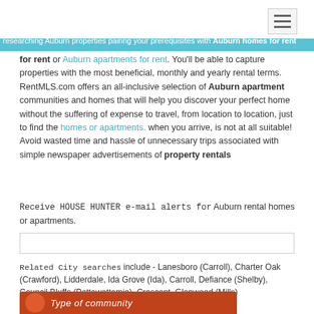researching Auburn properties pairing your prerequisites with Auburn homes for rent or Auburn apartments for rent. You'll be able to capture properties with the most beneficial, monthly and yearly rental terms. RentMLS.com offers an all-inclusive selection of Auburn apartment communities and homes that will help you discover your perfect home without the suffering of expense to travel, from location to location, just to find the homes or apartments. when you arrive, is not at all suitable! Avoid wasted time and hassle of unnecessary trips associated with simple newspaper advertisements of property rentals
Receive HOUSE HUNTER e-mail alerts for Auburn rental homes or apartments.
Related City searches include - Lanesboro (Carroll), Charter Oak (Crawford), Lidderdale, Ida Grove (Ida), Carroll, Defiance (Shelby), Council Bluffs (Pottawattamie), Crescent, Glenwood (Mills)
[Figure (other): Bottom banner with orange/red background showing 'Type of community' text with a circular logo on the left]